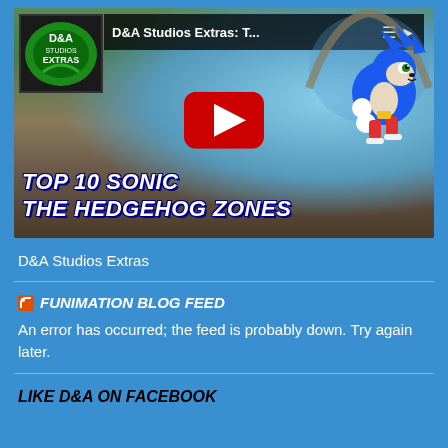[Figure (screenshot): YouTube video thumbnail for 'D&A Studios Extras: T...' showing a Sonic the Hedgehog game scene with the text 'TOP 10 SONIC THE HEDGEHOG ZONES'. Includes the D&A Studios channel logo in the top left, YouTube play button in the center, and Sonic character on the right.]
D&A Studios Extras
FUNIMATION BLOG FEED
An error has occurred; the feed is probably down. Try again later.
LIKE D&A ON FACEBOOK